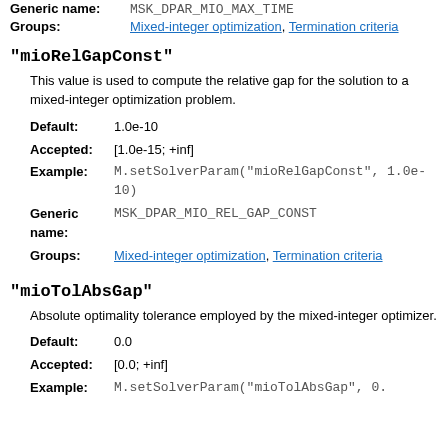Generic name: MSK_DPAR_MIO_MAX_TIME
Groups: Mixed-integer optimization, Termination criteria
"mioRelGapConst"
This value is used to compute the relative gap for the solution to a mixed-integer optimization problem.
Default: 1.0e-10
Accepted: [1.0e-15; +inf]
Example: M.setSolverParam("mioRelGapConst", 1.0e-10)
Generic name: MSK_DPAR_MIO_REL_GAP_CONST
Groups: Mixed-integer optimization, Termination criteria
"mioTolAbsGap"
Absolute optimality tolerance employed by the mixed-integer optimizer.
Default: 0.0
Accepted: [0.0; +inf]
Example: M.setSolverParam("mioTolAbsGap", 0...